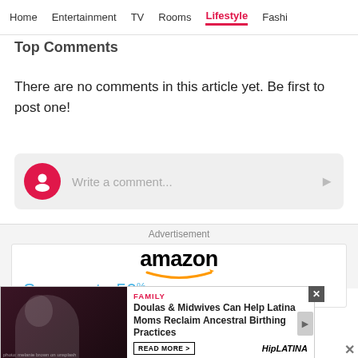Home  Entertainment  TV  Rooms  Lifestyle  Fashi
Top Comments
There are no comments in this article yet. Be first to post one!
Write a comment...
Advertisement
[Figure (logo): Amazon logo with orange smile arrow underneath]
Save up to 50%
[Figure (photo): A person with natural hair wearing a white top, dark background with maroon border. Photo credit: melanie brown on unsplash]
FAMILY
Doulas & Midwives Can Help Latina Moms Reclaim Ancestral Birthing Practices
READ MORE >
HipLATINA